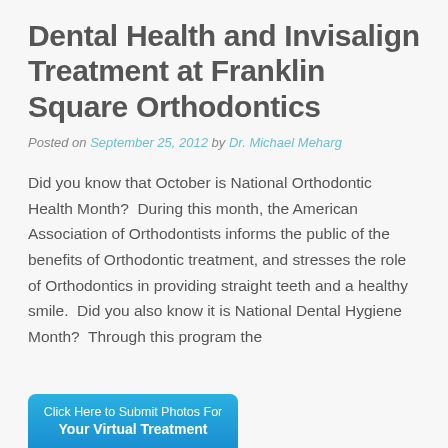Dental Health and Invisalign Treatment at Franklin Square Orthodontics
Posted on September 25, 2012 by Dr. Michael Meharg
Did you know that October is National Orthodontic Health Month?  During this month, the American Association of Orthodontists informs the public of the benefits of Orthodontic treatment, and stresses the role of Orthodontics in providing straight teeth and a healthy smile.  Did you also know it is National Dental Hygiene Month?  Through this program the
[Figure (other): Call-to-action button: 'Click Here to Submit Photos For Your Virtual Treatment']